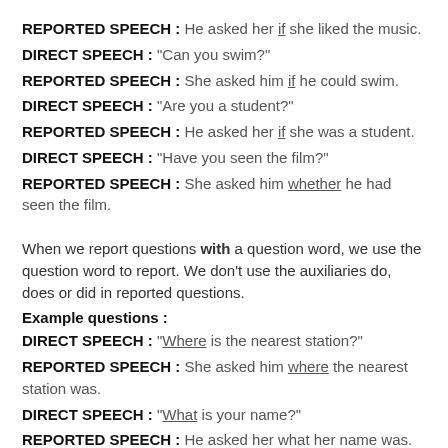REPORTED SPEECH : He asked her if she liked the music.
DIRECT SPEECH : "Can you swim?"
REPORTED SPEECH : She asked him if he could swim.
DIRECT SPEECH : "Are you a student?"
REPORTED SPEECH : He asked her if she was a student.
DIRECT SPEECH : "Have you seen the film?"
REPORTED SPEECH : She asked him whether he had seen the film.
When we report questions with a question word, we use the question word to report. We don't use the auxiliaries do, does or did in reported questions.
Example questions :
DIRECT SPEECH : "Where is the nearest station?"
REPORTED SPEECH : She asked him where the nearest station was.
DIRECT SPEECH : "What is your name?"
REPORTED SPEECH : He asked her what her name was.